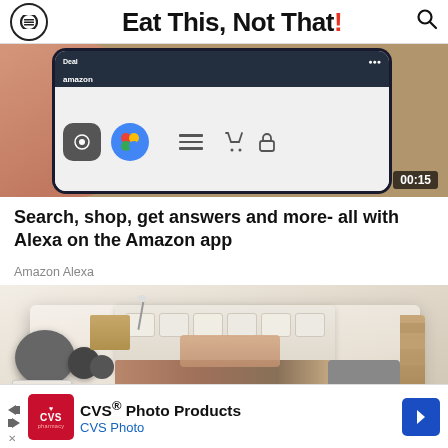Eat This, Not That!
[Figure (screenshot): Video thumbnail showing a hand holding a smartphone displaying the Amazon app, with a timer showing 00:15]
Search, shop, get answers and more- all with Alexa on the Amazon app
Amazon Alexa
[Figure (photo): A luxury multi-functional bed with speakers, lamp, drawers, and a laptop]
CVS® Photo Products CVS Photo